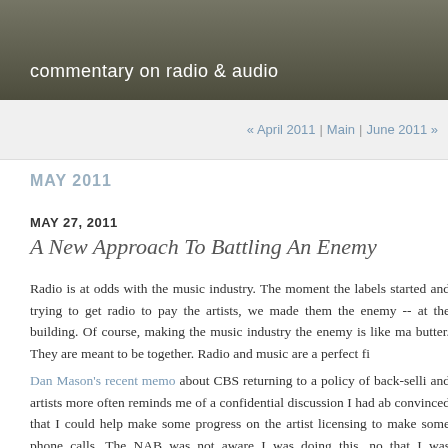commentary on radio & audio
« April 2011 | Main | June 2011 »
MAY 2011
MAY 27, 2011
A New Approach To Battling An Enemy
Radio is at odds with the music industry. The moment the labels started and trying to get radio to pay the artists, we made them the enemy -- at the building. Of course, making the music industry the enemy is like ma butter. They are meant to be together. Radio and music are a perfect fi
Dan Mason's recent memo about CBS returning to a policy of back-selli and artists more often reminds me of a confidential discussion I had ab convinced that I could help make some progress on the artist licensing to make some phone calls. The NAB was not aware I was doing this, no that I was representing the industry as a whole. My goal was to create industry, knowing that sometimes things can be resolved by making su